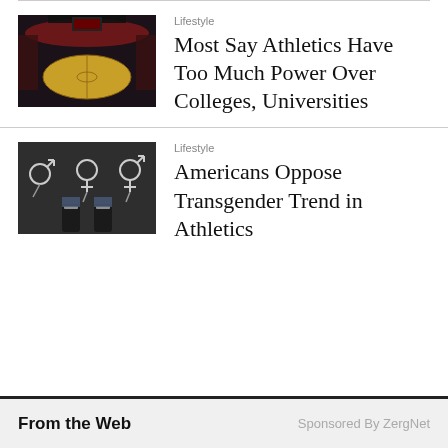[Figure (photo): Aerial view of a basketball court inside an arena with red seats]
Lifestyle
Most Say Athletics Have Too Much Power Over Colleges, Universities
[Figure (photo): Person standing on asphalt with gender symbols drawn in chalk, wearing sneakers]
Lifestyle
Americans Oppose Transgender Trend in Athletics
From the Web    Sponsored By ZergNet